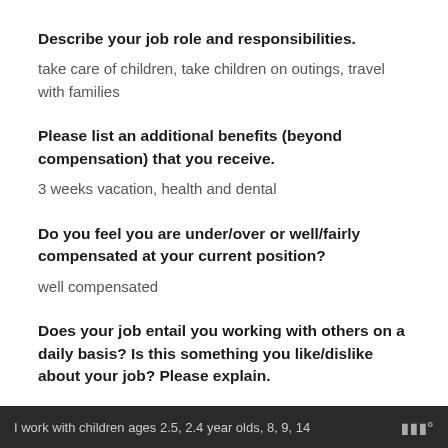Describe your job role and responsibilities.
take care of children, take children on outings, travel with families
Please list an additional benefits (beyond compensation) that you receive.
3 weeks vacation, health and dental
Do you feel you are under/over or well/fairly compensated at your current position?
well compensated
Does your job entail you working with others on a daily basis? Is this something you like/dislike about your job? Please explain.
I work with children ages 2.5, 2.4 year olds, 8, 9, 14